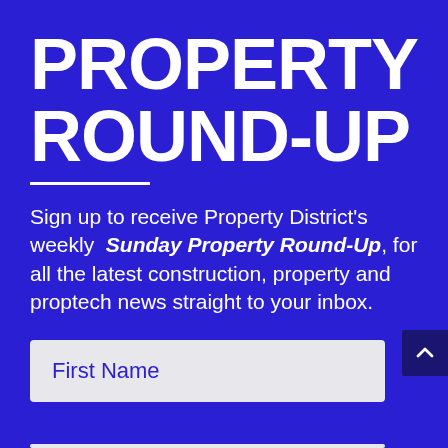PROPERTY ROUND-UP
Sign up to receive Property District's weekly Sunday Property Round-Up, for all the latest construction, property and proptech news straight to your inbox.
First Name